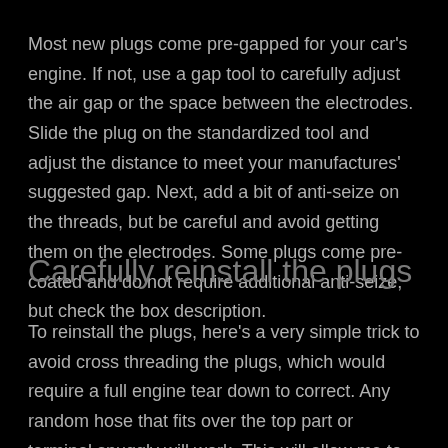Most new plugs come pre-gapped for your car's engine. If not, use a gap tool to carefully adjust the air gap or the space between the electrodes. Slide the plug on the standardized tool and adjust the distance to meet your manufactures' suggested gap. Next, add a bit of anti-seize on the threads, but be careful and avoid getting them on the electrodes. Some plugs come pre-coated and do not require additional anti-seize, but check the box description.
Carefully reinstall the plugs
To reinstall the plugs, here's a very simple trick to avoid cross threading the plugs, which would require a full engine tear down to correct. Any random hose that fits over the top part or terminal snuggly will work. This will allow me to hand screw the spark plugs without cross-threading because the